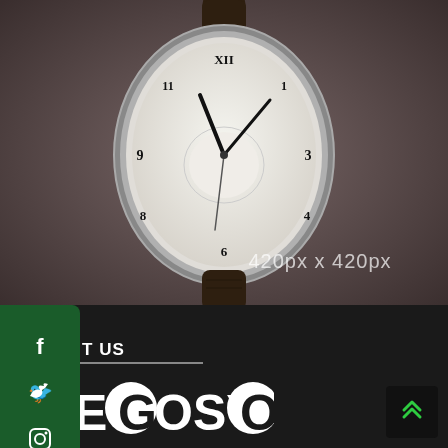[Figure (photo): A luxury wristwatch with white dial, Roman numerals, dark leather strap, silver case, displayed on dark grey background. Watermark text reads '420px x 420px'.]
[Figure (infographic): Green rounded-rectangle social media sidebar with Facebook (f), Twitter (bird), and Instagram (circle) icons in white.]
ABOUT US
[Figure (logo): NEGOSYO logo in bold white text with a white circle around one of the O letters.]
[Figure (other): Dark square back-to-top button with green double-chevron arrow pointing up, positioned bottom right.]